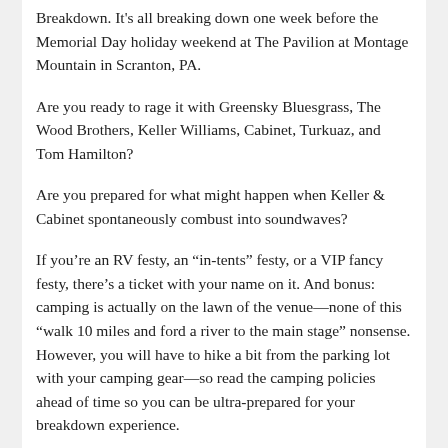Breakdown. It's all breaking down one week before the Memorial Day holiday weekend at The Pavilion at Montage Mountain in Scranton, PA.
Are you ready to rage it with Greensky Bluesgrass, The Wood Brothers, Keller Williams, Cabinet, Turkuaz, and Tom Hamilton?
Are you prepared for what might happen when Keller & Cabinet spontaneously combust into soundwaves?
If you're an RV festy, an “in-tents” festy, or a VIP fancy festy, there’s a ticket with your name on it. And bonus: camping is actually on the lawn of the venue—none of this “walk 10 miles and ford a river to the main stage” nonsense. However, you will have to hike a bit from the parking lot with your camping gear—so read the camping policies ahead of time so you can be ultra-prepared for your breakdown experience.